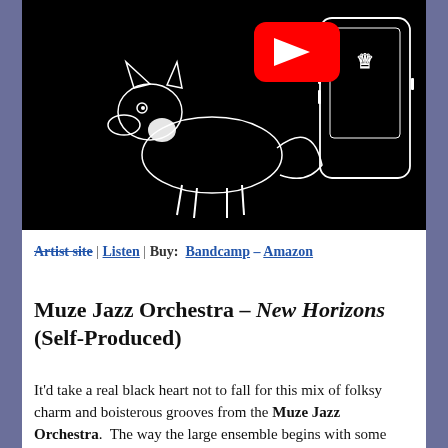[Figure (screenshot): Video thumbnail showing a white line-drawing of a fox on black background with a YouTube play button overlay. On the right side, a dark phone/device outline with a crown symbol.]
Artist site | Listen | Buy: Bandcamp – Amazon
Muze Jazz Orchestra – New Horizons (Self-Produced)
It'd take a real black heart not to fall for this mix of folksy charm and boisterous grooves from the Muze Jazz Orchestra. The way the large ensemble begins with some